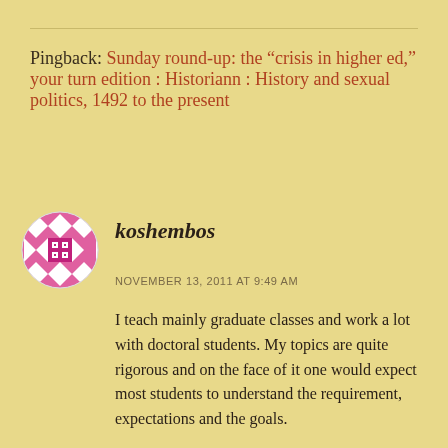Pingback: Sunday round-up: the “crisis in higher ed,” your turn edition : Historiann : History and sexual politics, 1492 to the present
[Figure (illustration): Avatar icon: circular badge with pink/magenta geometric diamond and square pattern on white background]
koshembos
NOVEMBER 13, 2011 AT 9:49 AM
I teach mainly graduate classes and work a lot with doctoral students. My topics are quite rigorous and on the face of it one would expect most students to understand the requirement, expectations and the goals.